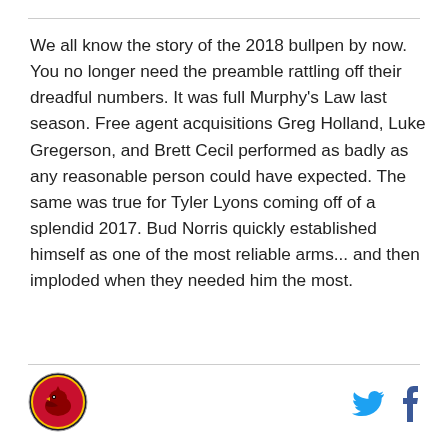We all know the story of the 2018 bullpen by now. You no longer need the preamble rattling off their dreadful numbers. It was full Murphy's Law last season. Free agent acquisitions Greg Holland, Luke Gregerson, and Brett Cecil performed as badly as any reasonable person could have expected. The same was true for Tyler Lyons coming off of a splendid 2017. Bud Norris quickly established himself as one of the most reliable arms... and then imploded when they needed him the most.
[Logo] [Twitter] [Facebook]